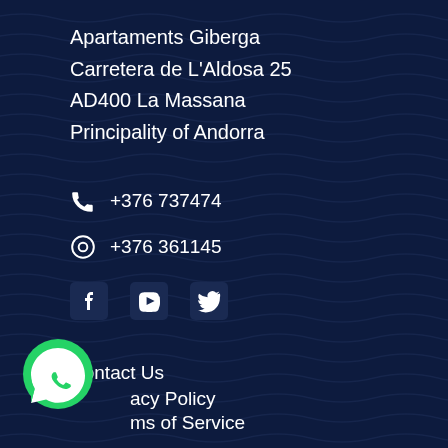Apartaments Giberga
Carretera de L'Aldosa 25
AD400 La Massana
Principalitat of Andorra
📞 +376 737474
⊕ +376 361145
[Figure (other): Social media icons: Facebook, YouTube, Twitter]
Contact Us
Privacy Policy
Terms of Service
[Figure (other): WhatsApp floating button icon]